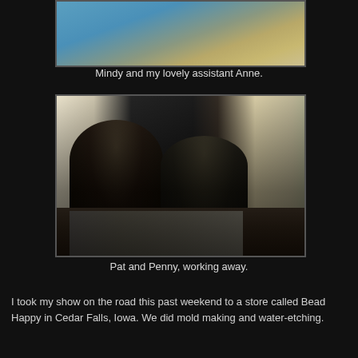[Figure (photo): Partial photo at top showing two people (Mindy and Anne) at a table working on crafts, cropped at the top of the page.]
Mindy and my lovely assistant Anne.
[Figure (photo): Photo of two women (Pat and Penny) wearing black shirts, bent over a table working on crafts in what appears to be a bead store with green walls.]
Pat and Penny, working away.
I took my show on the road this past weekend to a store called Bead Happy in Cedar Falls, Iowa. We did mold making and water-etching.